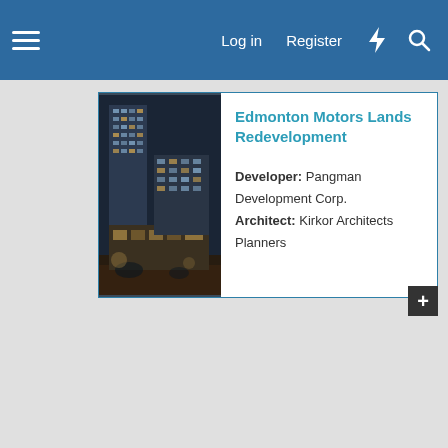Log in  Register
[Figure (photo): Photograph of a modern high-rise residential tower building with glass and brick facade, photographed at twilight/night.]
Edmonton Motors Lands Redevelopment
Developer: Pangman Development Corp.
Architect: Kirkor Architects Planners